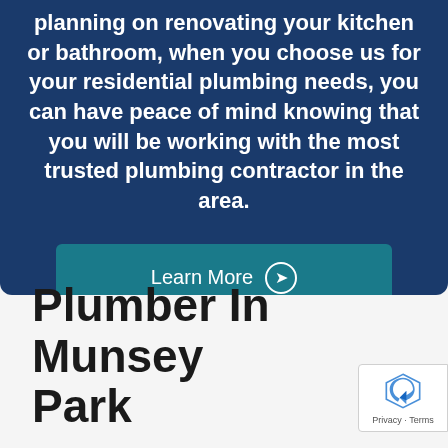planning on renovating your kitchen or bathroom, when you choose us for your residential plumbing needs, you can have peace of mind knowing that you will be working with the most trusted plumbing contractor in the area.
Learn More →
Plumber In Munsey Park